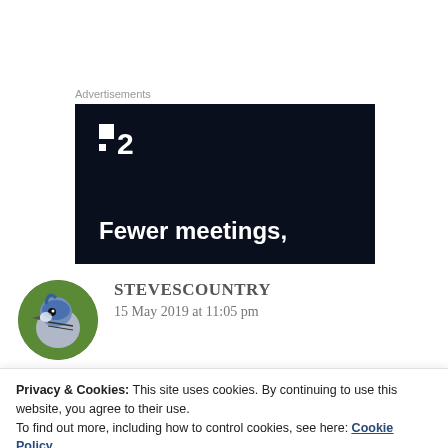Advertisements
[Figure (other): Dark-themed advertisement banner for a product called '2' with the tagline 'Fewer meetings,']
STEVESCOUNTRY
15 May 2019 at 11:05 pm
[Figure (photo): Circular avatar photo of a blue jay bird]
Privacy & Cookies: This site uses cookies. By continuing to use this website, you agree to their use.
To find out more, including how to control cookies, see here: Cookie Policy
Close and accept